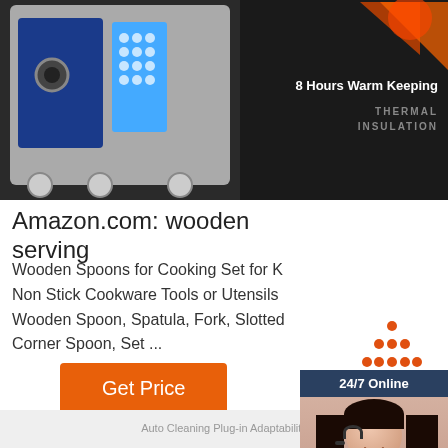[Figure (photo): Top banner showing commercial kitchen appliance on left side with blue/grey tones, and thermal insulation graphic on right with '8 Hours Warm Keeping' and 'THERMAL INSULATION' text]
[Figure (photo): 24/7 Online sidebar showing a customer service agent woman wearing headset with blue shirt, with 'Click here for free chat!' text and orange QUOTATION button]
Amazon.com: wooden serving
Wooden Spoons for Cooking Set for K Non Stick Cookware Tools or Utensils Wooden Spoon, Spatula, Fork, Slotted Corner Spoon, Set ...
[Figure (other): Orange 'Get Price' button]
[Figure (other): Orange TOP button with upward triangle dots icon]
Auto Cleaning Plug-in Adaptability